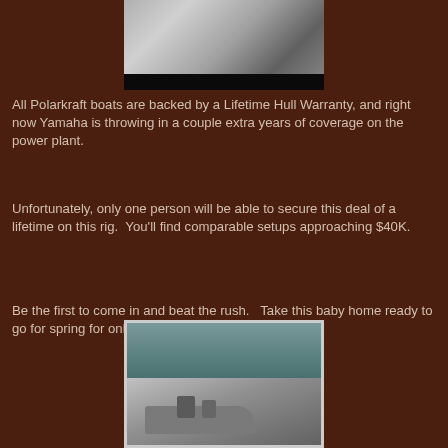[Figure (photo): Aerial view of boat interior with seats and controls, with black bar at bottom]
All Polarkraft boats are backed by a Lifetime Hull Warranty, and right now Yamaha is throwing in a couple extra years of coverage on the power plant.
Unfortunately, only one person will be able to secure this deal of a lifetime on this rig.  You'll find comparable setups approaching $40K.
Be the first to come in and beat the rush.   Take this baby home ready to go for spring for only $26,989 + tax!
[Figure (photo): Aerial action photo of a Polarkraft aluminum fishing boat speeding across water with two people aboard]